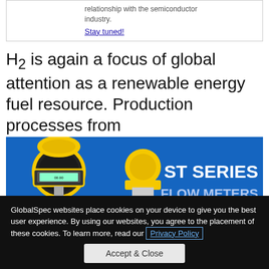relationship with the semiconductor industry.
Stay tuned!
H2 is again a focus of global attention as a renewable energy fuel resource. Production processes from
[Figure (photo): Advertisement banner for ST Series Flow Meters showing yellow flow meter devices on a blue background with text 'ST SERIES FLOW METERS']
GlobalSpec websites place cookies on your device to give you the best user experience. By using our websites, you agree to the placement of these cookies. To learn more, read our Privacy Policy
Accept & Close